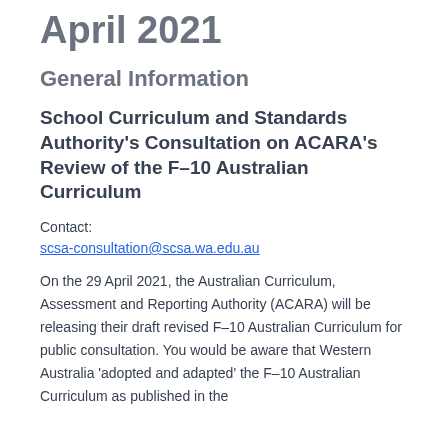April 2021
General Information
School Curriculum and Standards Authority's Consultation on ACARA's Review of the F–10 Australian Curriculum
Contact:
scsa-consultation@scsa.wa.edu.au
On the 29 April 2021, the Australian Curriculum, Assessment and Reporting Authority (ACARA) will be releasing their draft revised F–10 Australian Curriculum for public consultation. You would be aware that Western Australia 'adopted and adapted' the F–10 Australian Curriculum as published in the